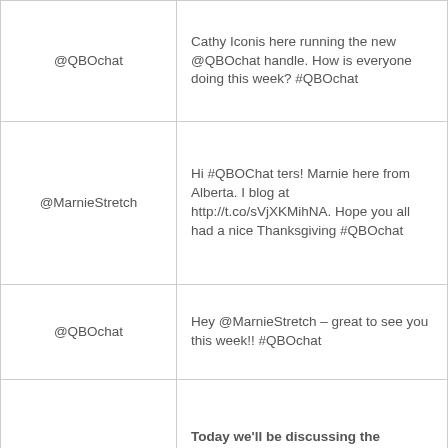| Handle | Tweet |
| --- | --- |
| @QBOchat | Cathy Iconis here running the new @QBOchat handle. How is everyone doing this week? #QBOchat |
| @MarnieStretch | Hi #QBOChat ters! Marnie here from Alberta. I blog at http://t.co/sVjXKMihNA. Hope you all had a nice Thanksgiving #QBOchat |
| @QBOchat | Hey @MarnieStretch – great to see you this week!! #QBOchat |
| @QBOchat | Today we'll be discussing the Invoicing Time in detail. Please share your thoughts and comments as we go. #QBOchat |
|  | I bet that @tsheets would have |